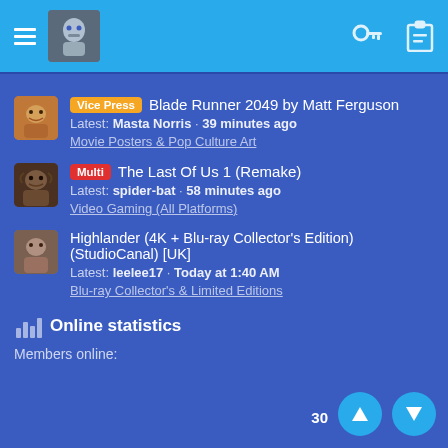App navigation bar with hamburger menu, avatar, key icon, clipboard icon
Vice Press · Blade Runner 2049 by Matt Ferguson · Latest: Masta Norris · 39 minutes ago · Movie Posters & Pop Culture Art
Multi · The Last Of Us 1 (Remake) · Latest: spider-bat · 58 minutes ago · Video Gaming (All Platforms)
Highlander (4K + Blu-ray Collector's Edition) (StudioCanal) [UK] · Latest: leelee17 · Today at 1:40 AM · Blu-ray Collector's & Limited Editions
Online statistics
Members online: 30